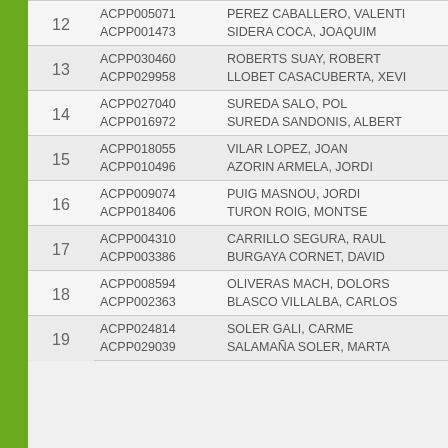| # | Code | Name |  |
| --- | --- | --- | --- |
| 12 | ACPP005071 | PEREZ CABALLERO, VALENTI |  |
|  | ACPP001473 | SIDERA COCA, JOAQUIM |  |
| 13 | ACPP030460 | ROBERTS SUAY, ROBERT |  |
|  | ACPP029958 | LLOBET CASACUBERTA, XEVI |  |
| 14 | ACPP027040 | SUREDA SALO, POL |  |
|  | ACPP016972 | SUREDA SANDONIS, ALBERT |  |
| 15 | ACPP018055 | VILAR LOPEZ, JOAN |  |
|  | ACPP010496 | AZORIN ARMELA, JORDI |  |
| 16 | ACPP009074 | PUIG MASNOU, JORDI |  |
|  | ACPP018406 | TURON ROIG, MONTSE |  |
| 17 | ACPP004310 | CARRILLO SEGURA, RAUL |  |
|  | ACPP003386 | BURGAYA CORNET, DAVID |  |
| 18 | ACPP008594 | OLIVERAS MACH, DOLORS |  |
|  | ACPP002363 | BLASCO VILLALBA, CARLOS |  |
| 19 | ACPP024814 | SOLER GALI, CARME |  |
|  | ACPP029039 | SALAMAÑA SOLER, MARTA |  |